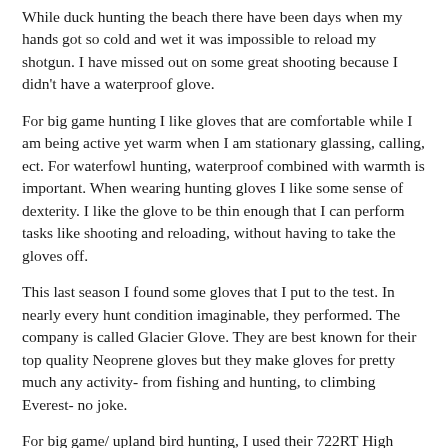While duck hunting the beach there have been days when my hands got so cold and wet it was impossible to reload my shotgun. I have missed out on some great shooting because I didn't have a waterproof glove.
For big game hunting I like gloves that are comfortable while I am being active yet warm when I am stationary glassing, calling, ect. For waterfowl hunting, waterproof combined with warmth is important. When wearing hunting gloves I like some sense of dexterity. I like the glove to be thin enough that I can perform tasks like shooting and reloading, without having to take the gloves off.
This last season I found some gloves that I put to the test. In nearly every hunt condition imaginable, they performed. The company is called Glacier Glove. They are best known for their top quality Neoprene gloves but they make gloves for pretty much any activity- from fishing and hunting, to climbing Everest- no joke.
For big game/ upland bird hunting, I used their 722RT High Performance Fleece Glove. For waterfowl hunting/ cold weather fishing, I used their 817RT Waterproof Neoprene Hunting Glove.
722RT High Performance Fleece